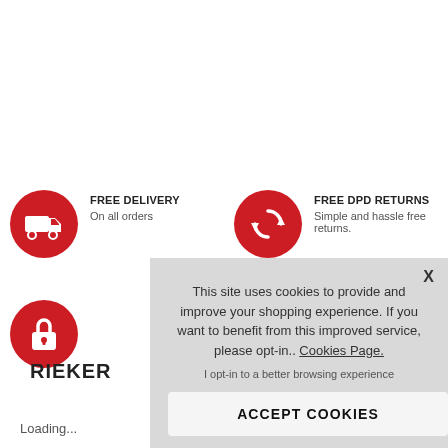[Figure (infographic): Red circle with white delivery truck icon]
FREE DELIVERY
On all orders
[Figure (infographic): Red circle with white circular arrows / returns icon]
FREE DPD RETURNS
Simple and hassle free returns.
[Figure (infographic): Red circle with white padlock icon]
RIEKER
Loading...
This site uses cookies to provide and improve your shopping experience. If you want to benefit from this improved service, please opt-in.. Cookies Page.
I opt-in to a better browsing experience
ACCEPT COOKIES